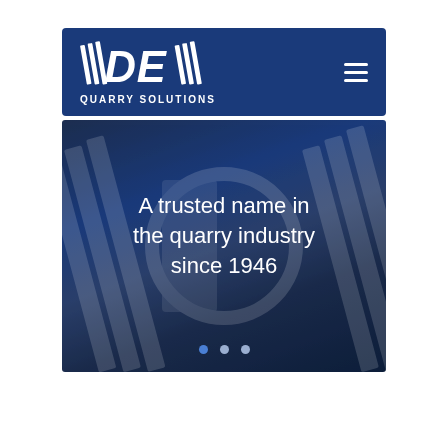[Figure (logo): DEM Quarry Solutions logo with stylized parallel lines and DE letters on dark blue navigation bar with hamburger menu icon]
[Figure (screenshot): Hero banner with dark navy blue background, watermark logo stripes, centered text reading 'A trusted name in the quarry industry since 1946', and three slider navigation dots at bottom]